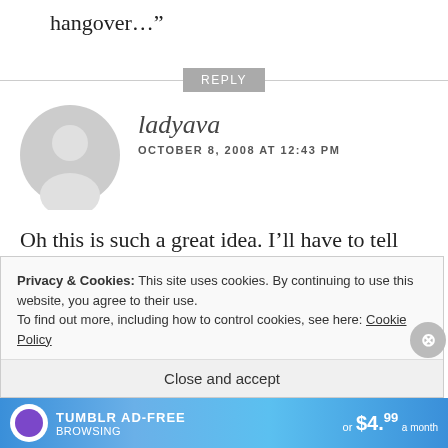hangover…”
REPLY
ladyava
OCTOBER 8, 2008 AT 12:43 PM
Oh this is such a great idea. I’ll have to tell my friends about it. We’ll be smashed in no time at all... 🙂
Privacy & Cookies: This site uses cookies. By continuing to use this website, you agree to their use.
To find out more, including how to control cookies, see here: Cookie Policy
Close and accept
[Figure (other): Tumblr ad-free browsing advertisement banner with logo and pricing]